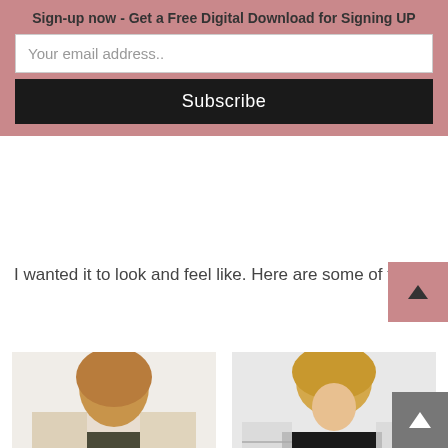Sign-up now - Get a Free Digital Download for Signing UP
Your email address..
Subscribe
I wanted it to look and feel like. Here are some of the sweaters I came across:
[Figure (photo): Woman wearing a beige/cream oversized cardigan sweater over an olive green top with dark jeans]
[Figure (photo): Woman wearing a white and black open-knit crochet cardigan over a black top with dark skinny jeans]